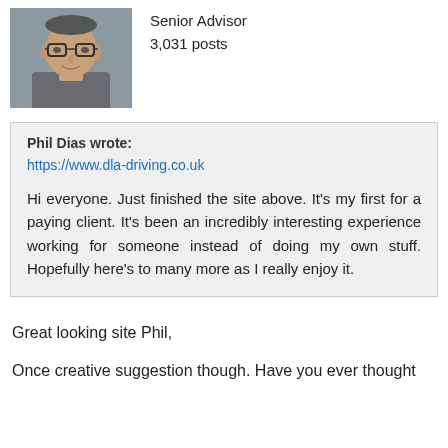[Figure (photo): Headshot of a middle-aged man with glasses wearing a plaid shirt, grey background]
Senior Advisor
3,031 posts
Phil Dias wrote:
https://www.dla-driving.co.uk

Hi everyone. Just finished the site above. It's my first for a paying client. It's been an incredibly interesting experience working for someone instead of doing my own stuff. Hopefully here's to many more as I really enjoy it.
Great looking site Phil,
Once creative suggestion though. Have you ever thought